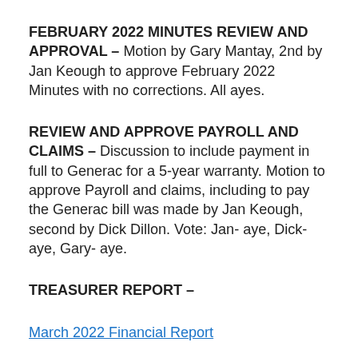FEBRUARY 2022 MINUTES REVIEW AND APPROVAL – Motion by Gary Mantay, 2nd by Jan Keough to approve February 2022 Minutes with no corrections. All ayes.
REVIEW AND APPROVE PAYROLL AND CLAIMS – Discussion to include payment in full to Generac for a 5-year warranty. Motion to approve Payroll and claims, including to pay the Generac bill was made by Jan Keough, second by Dick Dillon. Vote: Jan- aye, Dick-aye, Gary- aye.
TREASURER REPORT –
March 2022 Financial Report